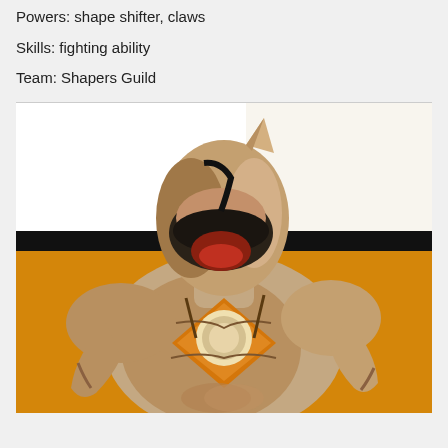Powers: shape shifter, claws
Skills: fighting ability
Team: Shapers Guild
[Figure (illustration): Comic book style illustration of a muscular superhero/villain character with a mask, bald head with a fin/horn, crouching forward. The character wears an orange and dark costume with a circular emblem on the chest. Background shows a yellow/orange lower section and white upper section with a dark horizontal band.]